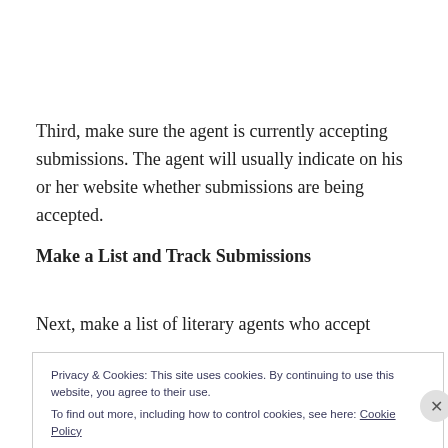Third, make sure the agent is currently accepting submissions. The agent will usually indicate on his or her website whether submissions are being accepted.
Make a List and Track Submissions
Next, make a list of literary agents who accept
Privacy & Cookies: This site uses cookies. By continuing to use this website, you agree to their use.
To find out more, including how to control cookies, see here: Cookie Policy
Close and accept